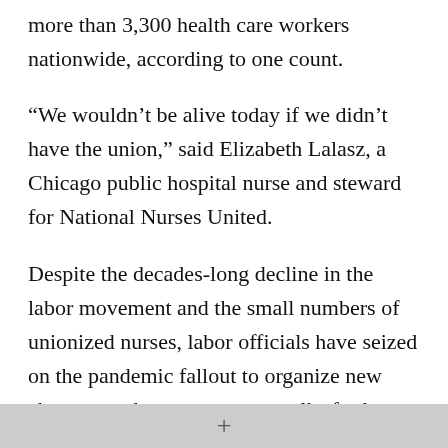more than 3,300 health care workers nationwide, according to one count.
“We wouldn’t be alive today if we didn’t have the union,” said Elizabeth Lalasz, a Chicago public hospital nurse and steward for National Nurses United.
Despite the decades-long decline in the labor movement and the small numbers of unionized nurses, labor officials have seized on the pandemic fallout to organize new chapters and pursue contract talks for better conditions and benefits. National Nurses organized seven new bargaining units last year, compared to four in 2019. The
+